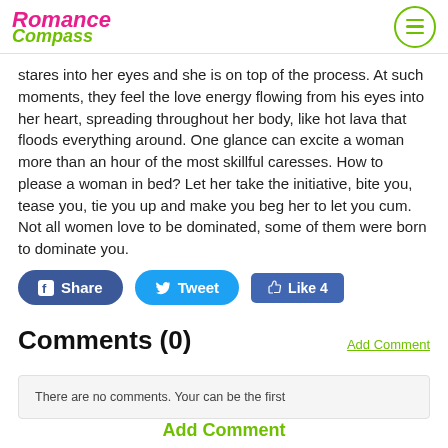Romance Compass
stares into her eyes and she is on top of the process. At such moments, they feel the love energy flowing from his eyes into her heart, spreading throughout her body, like hot lava that floods everything around. One glance can excite a woman more than an hour of the most skillful caresses. How to please a woman in bed? Let her take the initiative, bite you, tease you, tie you up and make you beg her to let you cum. Not all women love to be dominated, some of them were born to dominate you.
[Figure (screenshot): Social sharing buttons: Share (Facebook, dark blue rounded), Tweet (Twitter, blue rounded), Like 4 (Facebook like, blue)]
Comments (0)
Add Comment
There are no comments. Your can be the first
Add Comment